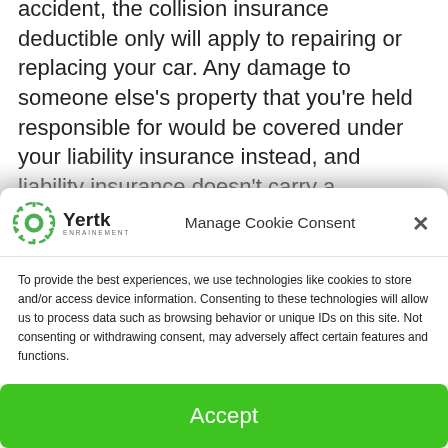accident, the collision insurance deductible only will apply to repairing or replacing your car. Any damage to someone else's property that you're held responsible for would be covered under your liability insurance instead, and liability insurance doesn't carry a deductible. Deductibles for collision
[Figure (screenshot): Cookie consent modal dialog from Yertk website with gear logo, title 'Manage Cookie Consent', explanatory text about cookies and technologies, and a green Accept button.]
Manage Cookie Consent
To provide the best experiences, we use technologies like cookies to store and/or access device information. Consenting to these technologies will allow us to process data such as browsing behavior or unique IDs on this site. Not consenting or withdrawing consent, may adversely affect certain features and functions.
Accept